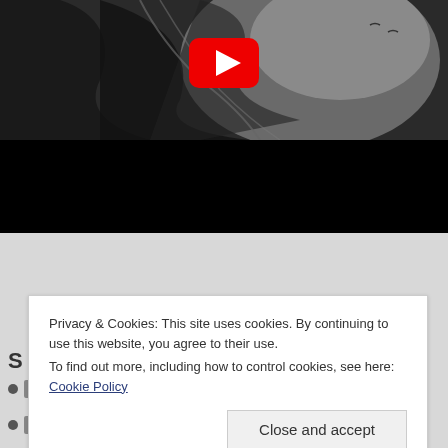[Figure (screenshot): A YouTube video thumbnail showing a black-and-white photo of a person with flowing hair, with a red YouTube play button centered on the image. The lower portion is solid black (video letterbox area).]
Privacy & Cookies: This site uses cookies. By continuing to use this website, you agree to their use.
To find out more, including how to control cookies, see here: Cookie Policy
Close and accept